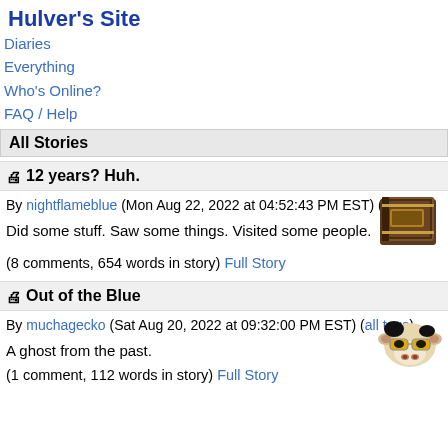Hulver's Site
Diaries
Everything
Who's Online?
FAQ / Help
All Stories
📄 12 years? Huh.
By nightflameblue (Mon Aug 22, 2022 at 04:52:43 PM EST) (all tags)
Did some stuff. Saw some things. Visited some people.
(8 comments, 654 words in story) Full Story
📄 Out of the Blue
By muchagecko (Sat Aug 20, 2022 at 09:32:00 PM EST) (all tags)
A ghost from the past.
(1 comment, 112 words in story) Full Story